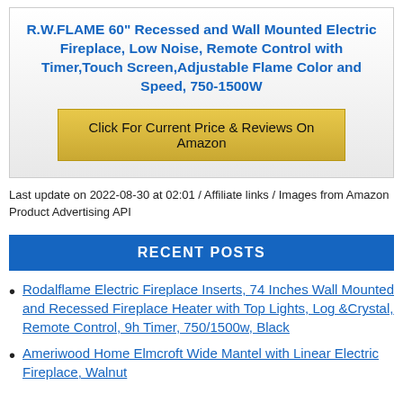R.W.FLAME 60" Recessed and Wall Mounted Electric Fireplace, Low Noise, Remote Control with Timer,Touch Screen,Adjustable Flame Color and Speed, 750-1500W
Click For Current Price & Reviews On Amazon
Last update on 2022-08-30 at 02:01 / Affiliate links / Images from Amazon Product Advertising API
RECENT POSTS
Rodalflame Electric Fireplace Inserts, 74 Inches Wall Mounted and Recessed Fireplace Heater with Top Lights, Log &Crystal, Remote Control, 9h Timer, 750/1500w, Black
Ameriwood Home Elmcroft Wide Mantel with Linear Electric Fireplace, Walnut